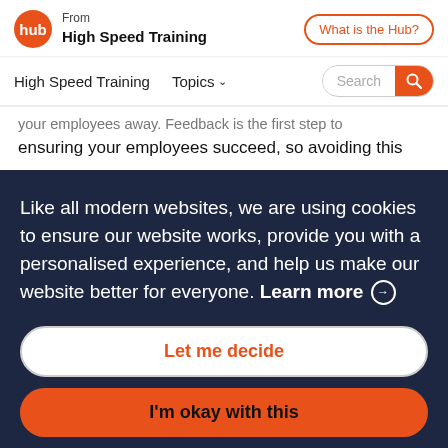From High Speed Training | What is the Hub?
High Speed Training   Topics   Search
your employees away. Feedback is the first step to ensuring your employees succeed, so avoiding this
Like all modern websites, we are using cookies to ensure our website works, provide you with a personalised experience, and help us make our website better for everyone. Learn more →
Let me decide
I'm okay with this